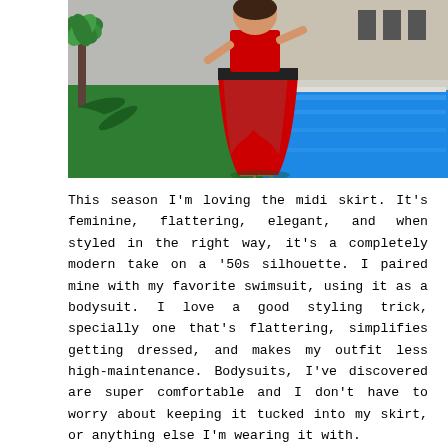[Figure (photo): A woman wearing a flowing red midi skirt and strappy heels, standing by a swimming pool. The scene includes a green turf area, tropical palm plants, a gray wall, and bright blue pool water in the background.]
This season I'm loving the midi skirt. It's feminine, flattering, elegant, and when styled in the right way, it's a completely modern take on a '50s silhouette. I paired mine with my favorite swimsuit, using it as a bodysuit. I love a good styling trick, specially one that's flattering, simplifies getting dressed, and makes my outfit less high-maintenance. Bodysuits, I've discovered are super comfortable and I don't have to worry about keeping it tucked into my skirt, or anything else I'm wearing it with.